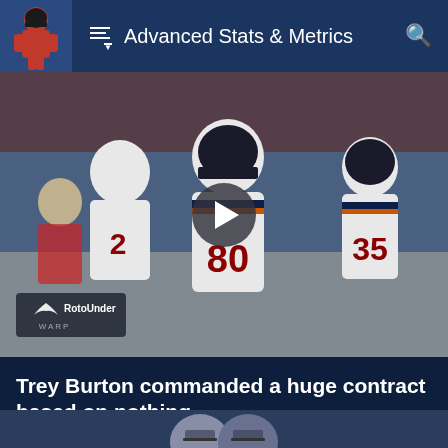Advanced Stats & Metrics
[Figure (photo): Chicago Bears football players in white jerseys running onto field. Player #80 prominently in center, #2 to the left, #35 to the right. RotoUnderworld watermark in lower left. Video play button overlay in center.]
Trey Burton commanded a huge contract based on nothing
Aug 28, 2018
[Figure (photo): Partial bottom thumbnail strip showing helmets]